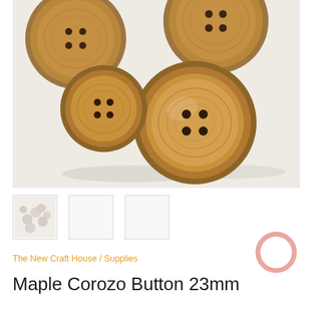[Figure (photo): Product photo of four brown/tan maple corozo buttons arranged on a white background. The buttons are round, 4-hole style with a warm brown wood-grain appearance and raised rim.]
[Figure (photo): Small thumbnail showing a pile of small translucent/white corozo buttons.]
[Figure (photo): Small thumbnail showing a blank/white image.]
[Figure (photo): Small thumbnail showing a blank/white image.]
[Figure (illustration): Pink chat/message bubble icon in the bottom right corner.]
The New Craft House / Supplies
Maple Corozo Button 23mm